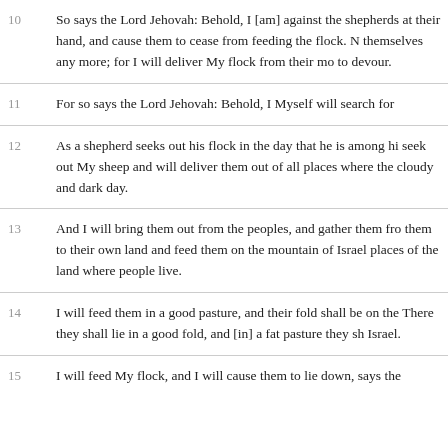10 So says the Lord Jehovah: Behold, I [am] against the shepherds at their hand, and cause them to cease from feeding the flock. N themselves any more; for I will deliver My flock from their mo to devour.
11 For so says the Lord Jehovah: Behold, I Myself will search for
12 As a shepherd seeks out his flock in the day that he is among hi seek out My sheep and will deliver them out of all places where the cloudy and dark day.
13 And I will bring them out from the peoples, and gather them fro them to their own land and feed them on the mountain of Israel places of the land where people live.
14 I will feed them in a good pasture, and their fold shall be on the There they shall lie in a good fold, and [in] a fat pasture they sh Israel.
15 I will feed My flock, and I will cause them to lie down, says the